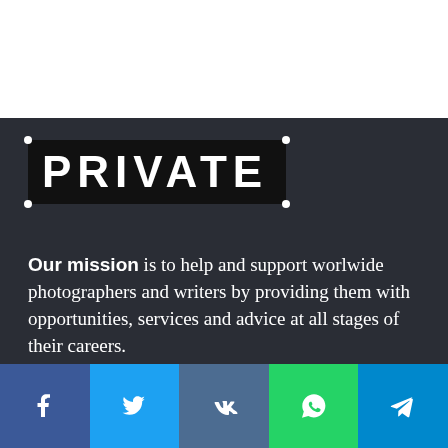[Figure (logo): PRIVATE logo in bold white uppercase letters on black background with corner dot markers]
Our mission is to help and support worlwide photographers and writers by providing them with opportunities, services and advice at all stages of their careers. Our goal is improve your visibility, encourage exchanges, create new opportunities.
[Figure (infographic): Social share footer bar with Facebook, Twitter, VK, WhatsApp, and Telegram icons]